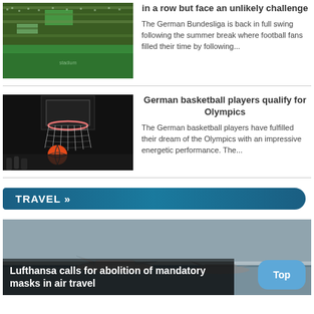[Figure (photo): Aerial view of a packed sports stadium with green banners]
in a row but face an unlikely challenge
The German Bundesliga is back in full swing following the summer break where football fans filled their time by following...
[Figure (photo): Basketball approaching a hoop in a dark arena]
German basketball players qualify for Olympics
The German basketball players have fulfilled their dream of the Olympics with an impressive energetic performance. The...
TRAVEL »
[Figure (photo): Airport tarmac with planes, Lufthansa article feature image]
Lufthansa calls for abolition of mandatory masks in air travel